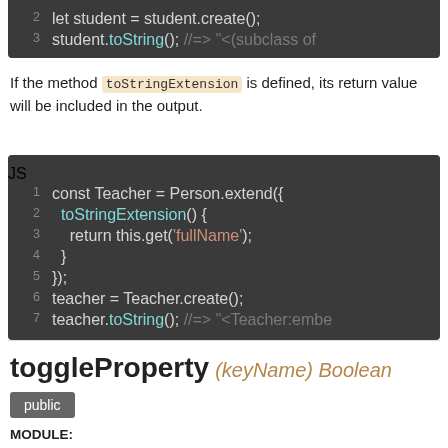[Figure (screenshot): Code block (top, cropped) showing lines 2-3: line 2: let student = student.create(); line 3: student.toString(); //=> "<(subclass of"]
If the method toStringExtension is defined, its return value will be included in the output.
[Figure (screenshot): JS code block showing 7 lines: 1: const Teacher = Person.extend({ 2: toStringExtension() { 3: return this.get('fullName'); 4: } 5: }); 6: teacher = Teacher.create(); 7: teacher.toString(); //=> "<Teacher:embe"]
toggleProperty (keyName) Boolean
public
MODULE: